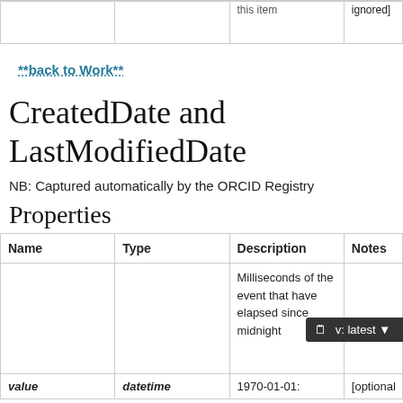|  |  |  | ignored] |
| --- | --- | --- | --- |
|  |  |  |  |
**back to Work**
CreatedDate and LastModifiedDate
NB: Captured automatically by the ORCID Registry
Properties
| Name | Type | Description | Notes |
| --- | --- | --- | --- |
|  |  | Milliseconds of the event that have elapsed since midnight |  |
| value | datetime | 1970-01-01: | [optional] |